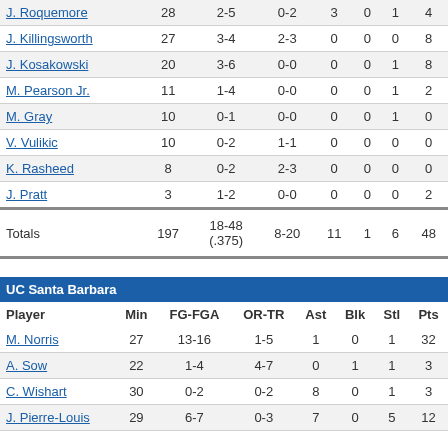| Player | Min | FG-FGA | OR-TR | Ast | Blk | Stl | Pts |
| --- | --- | --- | --- | --- | --- | --- | --- |
| J. Roquemore | 28 | 2-5 | 0-2 | 3 | 0 | 1 | 4 |
| J. Killingsworth | 27 | 3-4 | 2-3 | 0 | 0 | 0 | 8 |
| J. Kosakowski | 20 | 3-6 | 0-0 | 0 | 0 | 1 | 8 |
| M. Pearson Jr. | 11 | 1-4 | 0-0 | 0 | 0 | 1 | 2 |
| M. Gray | 10 | 0-1 | 0-0 | 0 | 0 | 1 | 0 |
| V. Vulikic | 10 | 0-2 | 1-1 | 0 | 0 | 0 | 0 |
| K. Rasheed | 8 | 0-2 | 2-3 | 0 | 0 | 0 | 0 |
| J. Pratt | 3 | 1-2 | 0-0 | 0 | 0 | 0 | 2 |
| Totals | 197 | 18-48 (.375) | 8-20 | 11 | 1 | 6 | 48 |
UC Santa Barbara
| Player | Min | FG-FGA | OR-TR | Ast | Blk | Stl | Pts |
| --- | --- | --- | --- | --- | --- | --- | --- |
| M. Norris | 27 | 13-16 | 1-5 | 1 | 0 | 1 | 32 |
| A. Sow | 22 | 1-4 | 4-7 | 0 | 1 | 1 | 3 |
| C. Wishart | 30 | 0-2 | 0-2 | 8 | 0 | 1 | 3 |
| J. Pierre-Louis | 29 | 6-7 | 0-3 | 7 | 0 | 5 | 12 |